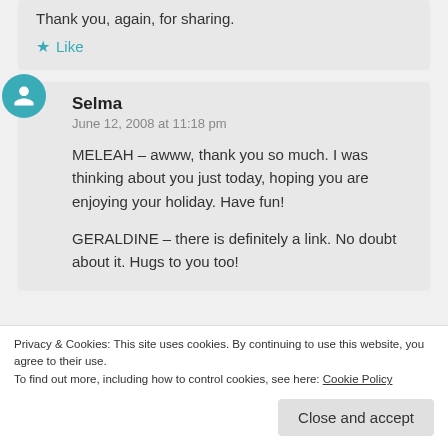Thank you, again, for sharing.
Like
Selma
June 12, 2008 at 11:18 pm
MELEAH – awww, thank you so much. I was thinking about you just today, hoping you are enjoying your holiday. Have fun!
GERALDINE – there is definitely a link. No doubt about it. Hugs to you too!
Privacy & Cookies: This site uses cookies. By continuing to use this website, you agree to their use.
To find out more, including how to control cookies, see here: Cookie Policy
Close and accept